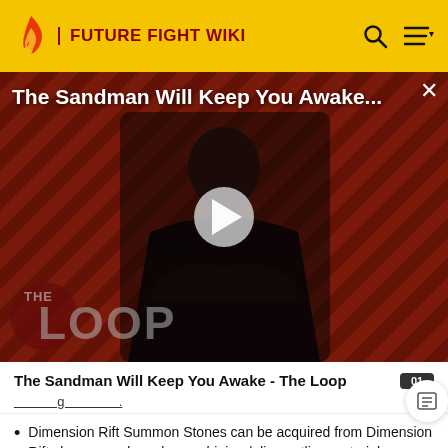FUTURE FIGHT WIKI
[Figure (screenshot): Video thumbnail for 'The Sandman Will Keep You Awake...' showing a dark-cloaked figure against a diagonal striped red/dark background, with a play button in the center and 'THE LOOP' logo in the bottom left.]
The Sandman Will Keep You Awake - The Loop
01
Dimension Rift Summon Stones can be acquired from Dimension Rift clear rewards, or by combining / dismantling materials.